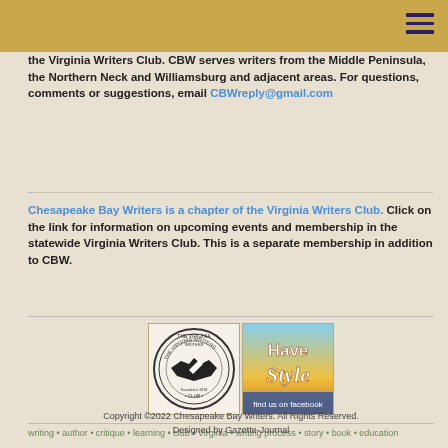the Virginia Writers Club. CBW serves writers from the Middle Peninsula, the Northern Neck and Williamsburg and adjacent areas. For questions, comments or suggestions, email CBWreply@gmail.com
Chesapeake Bay Writers is a chapter of the Virginia Writers Club. Click on the link for information on upcoming events and membership in the statewide Virginia Writers Club. This is a separate membership in addition to CBW.
[Figure (logo): The Virginia Writers Club circular seal/badge logo]
[Figure (logo): Have Style - Facebook promotional image with colorful text]
writing • author • critique • learning • club • Virginia • writing process • story • book • education
Copyright ©2022 Chesapeake Bay Writers. All Rights Reserved. Designed by Gazette-Journal